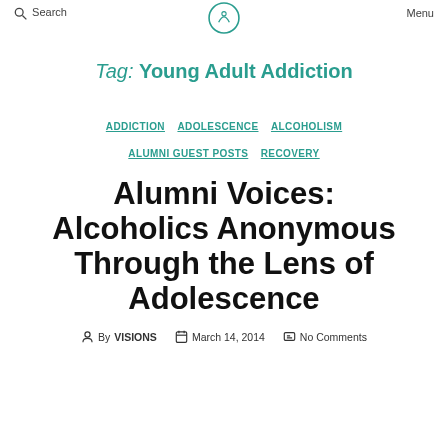Search   Menu
Tag: Young Adult Addiction
ADDICTION   ADOLESCENCE   ALCOHOLISM   ALUMNI GUEST POSTS   RECOVERY
Alumni Voices: Alcoholics Anonymous Through the Lens of Adolescence
By VISIONS   March 14, 2014   No Comments